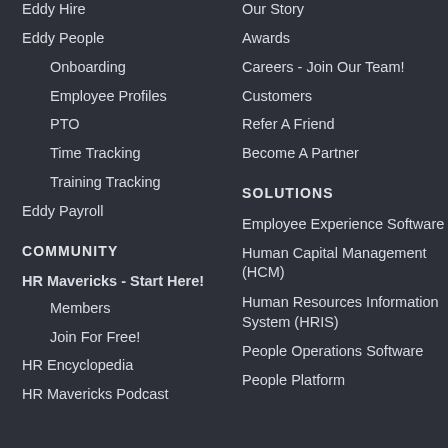Eddy Hire
Eddy People
Onboarding
Employee Profiles
PTO
Time Tracking
Training Tracking
Eddy Payroll
Our Story
Awards
Careers - Join Our Team!
Customers
Refer A Friend
Become A Partner
COMMUNITY
HR Mavericks - Start Here!
Members
Join For Free!
HR Encyclopedia
HR Mavericks Podcast
SOLUTIONS
Employee Experience Software
Human Capital Management (HCM)
Human Resources Information System (HRIS)
People Operations Software
People Platform